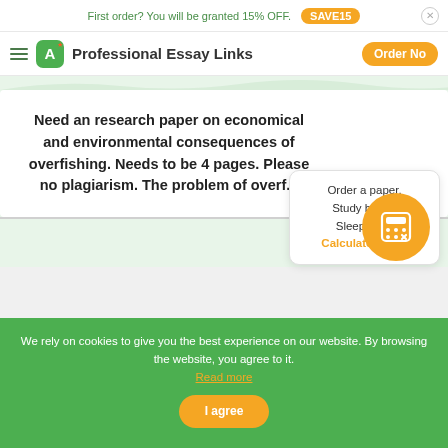First order? You will be granted 15% OFF.  SAVE15
Professional Essay Links  Order Now
Need an research paper on economical and environmental consequences of overfishing. Needs to be 4 pages. Please no plagiarism. The problem of overf...
Order a paper. Study better. Sleep tight. Calculate Price!
We rely on cookies to give you the best experience on our website. By browsing the website, you agree to it. Read more
I agree